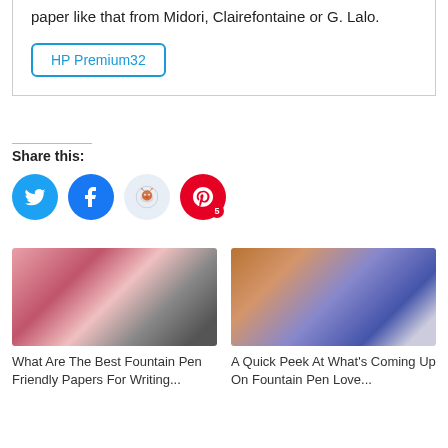paper like that from Midori, Clairefontaine or G. Lalo.
HP Premium32
Share this:
[Figure (illustration): Social media share buttons: Twitter (blue circle with bird), Facebook (blue circle with f), Reddit (light blue circle with alien mascot), Pinterest (red circle with P and badge showing 5)]
[Figure (photo): Photo of a red notebook with gold text and two black fountain pens on a white surface]
What Are The Best Fountain Pen Friendly Papers For Writing...
[Figure (photo): Photo of orange/brown leather notebook cover, blue hardcover notebook, and light grey notepad on a wooden surface]
A Quick Peek At What's Coming Up On Fountain Pen Love...